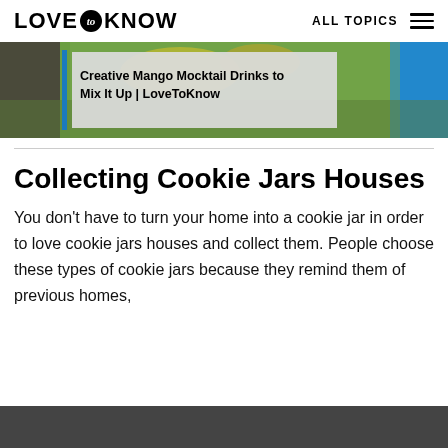LOVE to KNOW   ALL TOPICS
[Figure (photo): Hero image showing mango mocktail drinks with tropical fruit background, partially visible]
Creative Mango Mocktail Drinks to Mix It Up | LoveToKnow
Collecting Cookie Jars Houses
You don't have to turn your home into a cookie jar in order to love cookie jars houses and collect them. People choose these types of cookie jars because they remind them of previous homes,